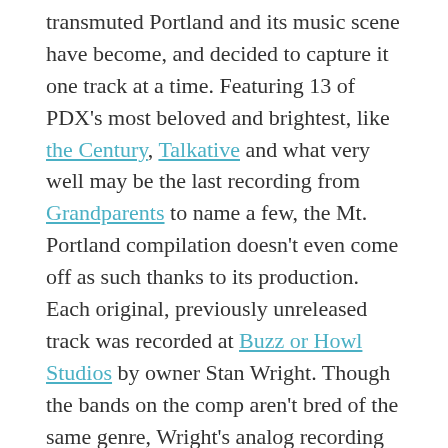transmuted Portland and its music scene have become, and decided to capture it one track at a time. Featuring 13 of PDX's most beloved and brightest, like the Century, Talkative and what very well may be the last recording from Grandparents to name a few, the Mt. Portland compilation doesn't even come off as such thanks to its production. Each original, previously unreleased track was recorded at Buzz or Howl Studios by owner Stan Wright. Though the bands on the comp aren't bred of the same genre, Wright's analog recording technique melded each contributed track seamlessly, resulting in a collection that's more cohesive than just compiled. Both Wright and Magid fronted recording time, pressings and all other costs themselves, keeping the compilation not for profit and free for us to consume.
Stream the compilation below and check out the Mt. Portland release show tomorrow at Rontoms, for free. Performing will be Boone Howard and Michael Finn (the Domestics), Candace, Joel Magid himself and headlined by And And And.